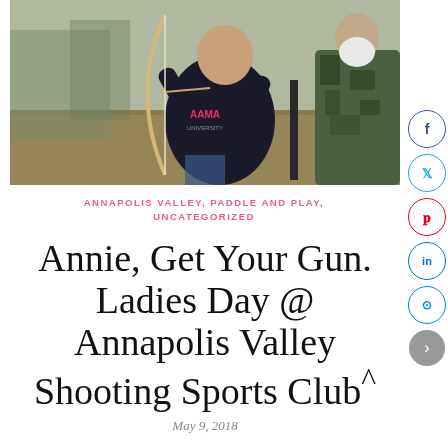[Figure (photo): A person in a dark hoodie drawing a longbow outdoors, with another person in camouflage clothing standing nearby. Background shows bare trees and dry grass.]
ANNAPOLIS VALLEY, PADDLE AND PLAY, UNCATEGORIZED
Annie, Get Your Gun. Ladies Day @ Annapolis Valley Shooting Sports Club^
May 9, 2018